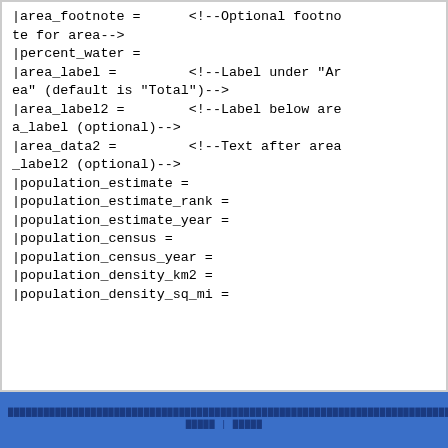|area_footnote =      <!--Optional footnote for area-->
|percent_water =
|area_label =         <!--Label under "Area" (default is "Total")-->
|area_label2 =        <!--Label below area_label (optional)-->
|area_data2 =         <!--Text after area_label2 (optional)-->
|population_estimate =
|population_estimate_rank =
|population_estimate_year =
|population_census =
|population_census_year =
|population_density_km2 =
|population_density_sq_mi =
████████████████████████████████████████████████████████████████████████████████████████████████████
█████ | █████